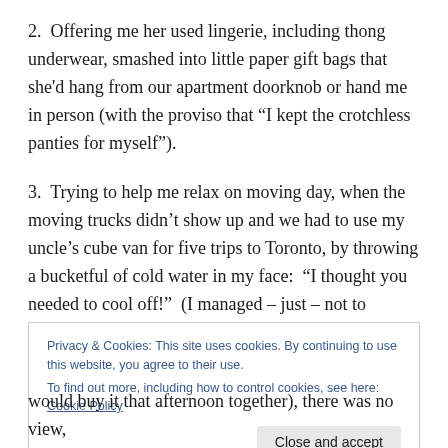2.  Offering me her used lingerie, including thong underwear, smashed into little paper gift bags that she'd hang from our apartment doorknob or hand me in person (with the proviso that “I kept the crotchless panties for myself”).
3.  Trying to help me relax on moving day, when the moving trucks didn’t show up and we had to use my uncle’s cube van for five trips to Toronto, by throwing a bucketful of cold water in my face:  “I thought you needed to cool off!”  (I managed – just – not to annihilate her.)
Privacy & Cookies: This site uses cookies. By continuing to use this website, you agree to their use.
To find out more, including how to control cookies, see here: Cookie Policy
would buy it that afternoon together), there was no view,